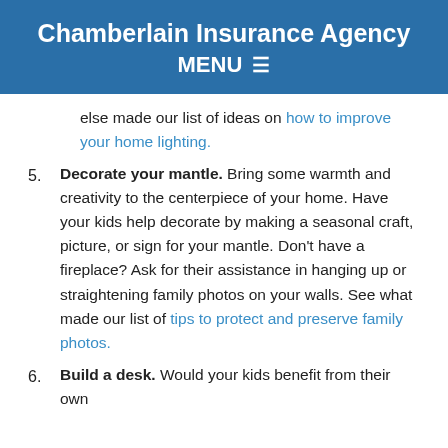Chamberlain Insurance Agency MENU ☰
else made our list of ideas on how to improve your home lighting.
5. Decorate your mantle. Bring some warmth and creativity to the centerpiece of your home. Have your kids help decorate by making a seasonal craft, picture, or sign for your mantle. Don't have a fireplace? Ask for their assistance in hanging up or straightening family photos on your walls. See what made our list of tips to protect and preserve family photos.
6. Build a desk. Would your kids benefit from their own